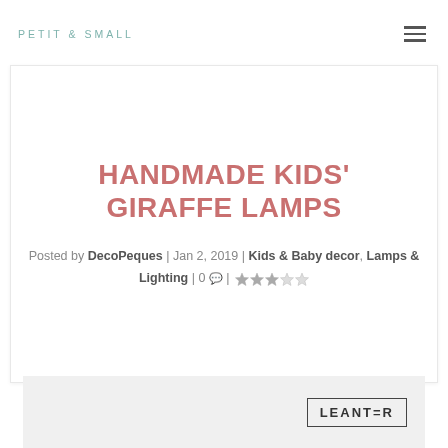PETIT & SMALL
HANDMADE KIDS' GIRAFFE LAMPS
Posted by DecoPeques | Jan 2, 2019 | Kids & Baby decor, Lamps & Lighting | 0 | ★★★☆☆
[Figure (photo): Bottom portion of a photograph showing a giraffe lamp with a LEANTER logo/watermark in the lower right]